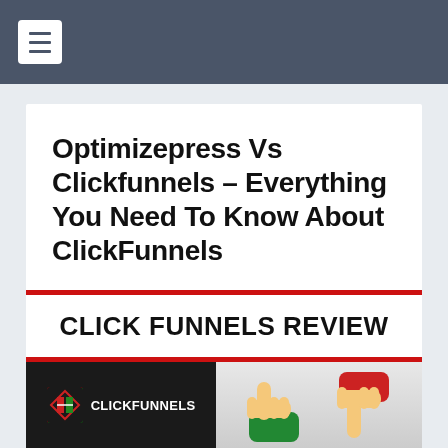☰ (hamburger menu)
Optimizepress Vs Clickfunnels – Everything You Need To Know About ClickFunnels
[Figure (infographic): Click Funnels Review banner with ClickFunnels logo on dark background on left and thumbs up/down graphic on right]